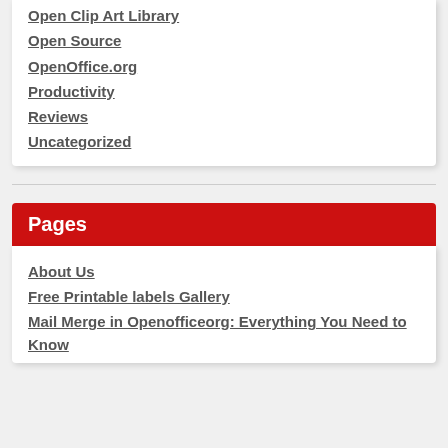Open Clip Art Library
Open Source
OpenOffice.org
Productivity
Reviews
Uncategorized
Pages
About Us
Free Printable labels Gallery
Mail Merge in Openofficeorg: Everything You Need to Know